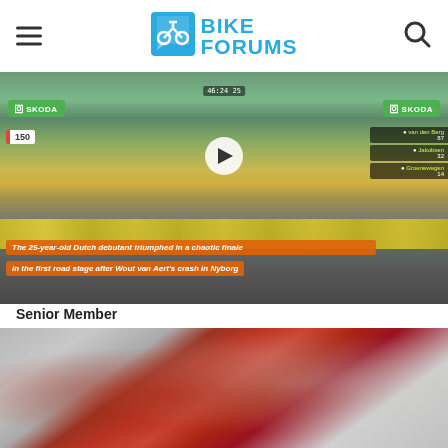Bike Forums
[Figure (screenshot): Tour de France stage finish video screenshot showing a peloton sprint finish with SKODA branding, a play button overlay, and orange caption bars reading: 'The 25-year-old Dutch debutant triumphed in a chaotic finale in the first road stage after Wout van Aert's crash in Nyborg']
Senior Member
[Figure (photo): Close-up photo of a red/maroon bicycle component (appears to be a derailleur or shifter) against a light gray background]